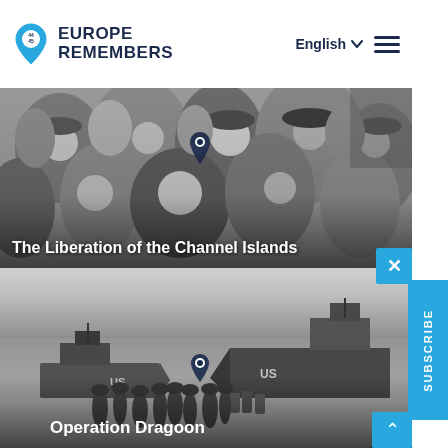EUROPE REMEMBERS — English
[Figure (photo): Black and white photograph of a celebrating crowd of people, with a map pin marker visible. Text overlay reads 'The Liberation of the Channel Islands']
[Figure (photo): Black and white photograph of US military landing ships and soldiers wading ashore. Text overlay reads 'Operation Dragoon'. Map pin visible in the scene.]